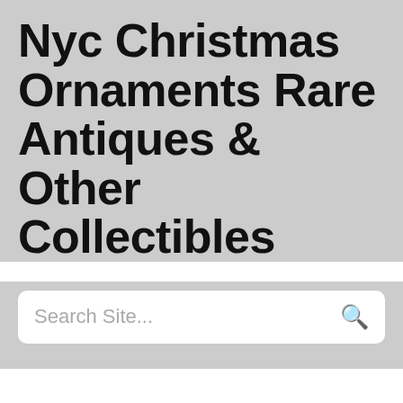Nyc Christmas Ornaments Rare Antiques & Other Collectibles
Search Site...
Nyc